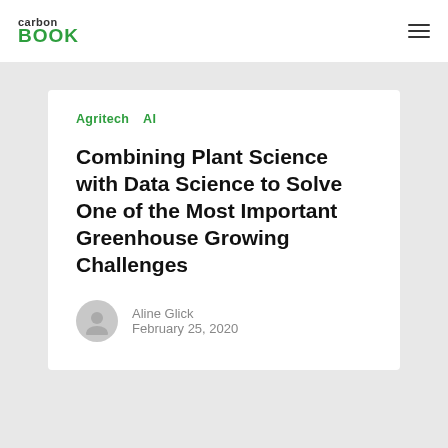carbon BOOK
Agritech   AI
Combining Plant Science with Data Science to Solve One of the Most Important Greenhouse Growing Challenges
Aline Glick
February 25, 2020
Leave a Reply